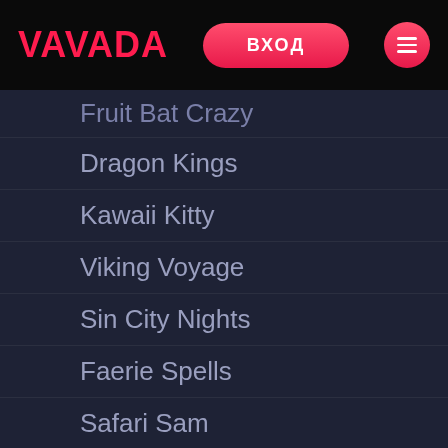VAVADA | ВХОД
Fruit Bat Crazy
Dragon Kings
Kawaii Kitty
Viking Voyage
Sin City Nights
Faerie Spells
Safari Sam
Hot Shots
The Magic Shoppe
Lost